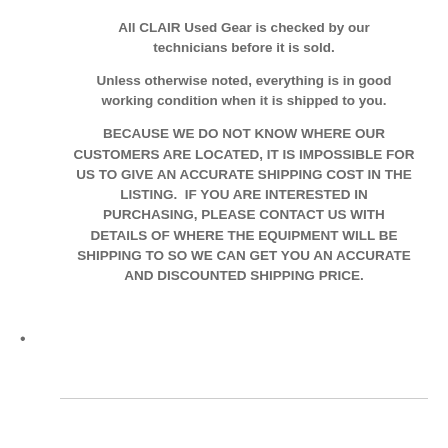All CLAIR Used Gear is checked by our technicians before it is sold.
Unless otherwise noted, everything is in good working condition when it is shipped to you.
BECAUSE WE DO NOT KNOW WHERE OUR CUSTOMERS ARE LOCATED, IT IS IMPOSSIBLE FOR US TO GIVE AN ACCURATE SHIPPING COST IN THE LISTING.  IF YOU ARE INTERESTED IN PURCHASING, PLEASE CONTACT US WITH DETAILS OF WHERE THE EQUIPMENT WILL BE SHIPPING TO SO WE CAN GET YOU AN ACCURATE AND DISCOUNTED SHIPPING PRICE.